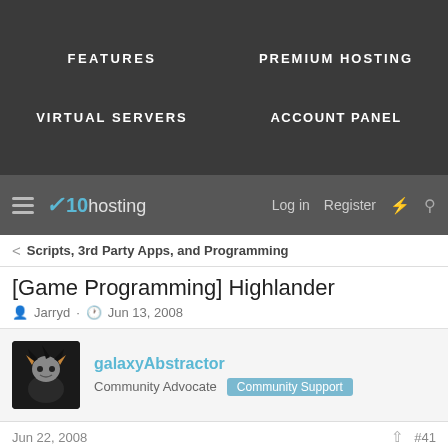FEATURES | PREMIUM HOSTING | VIRTUAL SERVERS | ACCOUNT PANEL
[Figure (logo): x10hosting logo with hamburger menu, Log in, Register, lightning and search icons]
Scripts, 3rd Party Apps, and Programming
[Game Programming] Highlander
Jarryd · Jun 13, 2008
galaxyAbstractor - Community Advocate - Community Support
Jun 22, 2008 · #41
😮 can I help in someway too? I am already in another game project at http://towerdefence.net as graphics designer for a new